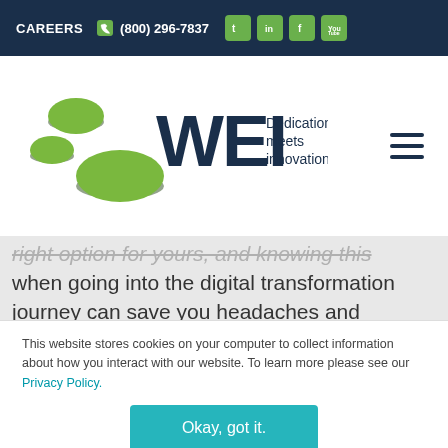CAREERS  (800) 296-7837  [Twitter] [LinkedIn] [Facebook] [YouTube]
[Figure (logo): WEI logo with three green circular discs and text 'WEI Dedication meets innovation.' in dark navy blue, with hamburger menu icon on the right]
right option for yours, and knowing this when going into the digital transformation journey can save you headaches and heartbreak. Many decisions made by enterprises are based on their needs at the
This website stores cookies on your computer to collect information about how you interact with our website. To learn more please see our Privacy Policy.
Okay, got it.